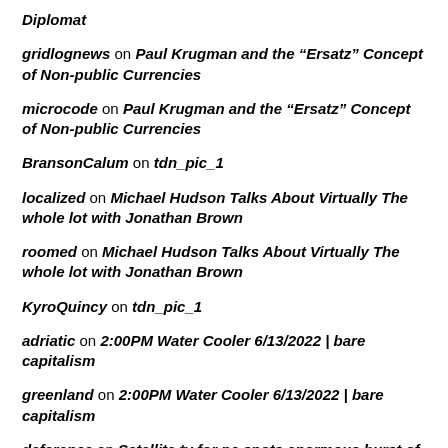Diplomat
gridlognews on Paul Krugman and the “Ersatz” Concept of Non-public Currencies
microcode on Paul Krugman and the “Ersatz” Concept of Non-public Currencies
BransonCalum on tdn_pic_1
localized on Michael Hudson Talks About Virtually The whole lot with Jonathan Brown
roomed on Michael Hudson Talks About Virtually The whole lot with Jonathan Brown
KyroQuincy on tdn_pic_1
adriatic on 2:00PM Water Cooler 6/13/2022 | bare capitalism
greenland on 2:00PM Water Cooler 6/13/2022 | bare capitalism
deference on Satellite tv for pc spots enormous burst of methane from Russian coal mine